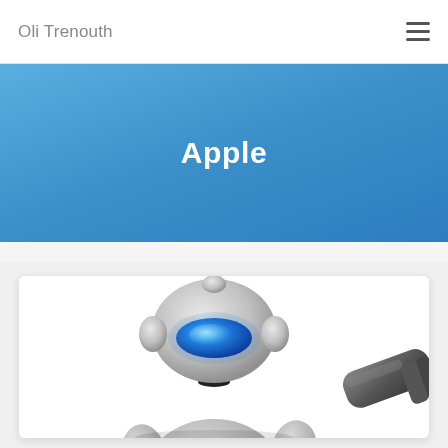Oli Trenouth
Apple
[Figure (illustration): A 3D silver robot with a glowing blue oval visor on its head, holding a dark metallic object (possibly a tool or weapon) — partial crop showing the robot from waist up on a white background.]